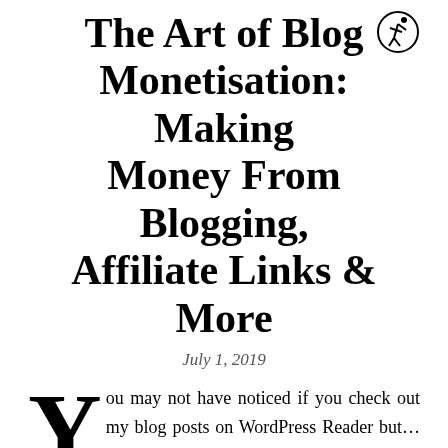The Art of Blog Monetisation: Making Money From Blogging, Affiliate Links & More
July 1, 2019
You may not have noticed if you check out my blog posts on WordPress Reader but… *drumroll*, I was approved for my very first Affiliate Partnership with an Australian bookshop some of you may be familiar with; Angus & Robertson.
So you'll see a small little banner at the bottom of every post and there's also one somewhere in my